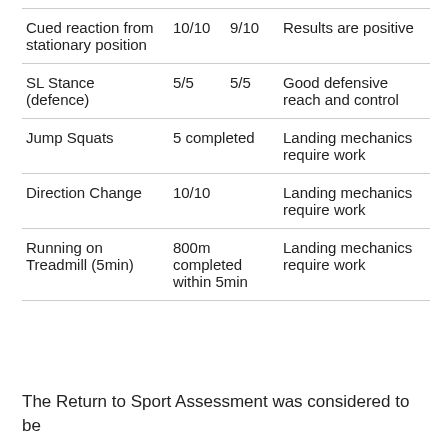| Cued reaction from stationary position | 10/10 | 9/10 | Results are positive |
| SL Stance (defence) | 5/5 | 5/5 | Good defensive reach and control |
| Jump Squats | 5 completed |  | Landing mechanics require work |
| Direction Change | 10/10 |  | Landing mechanics require work |
| Running on Treadmill (5min) | 800m completed within 5min |  | Landing mechanics require work |
The Return to Sport Assessment was considered to be